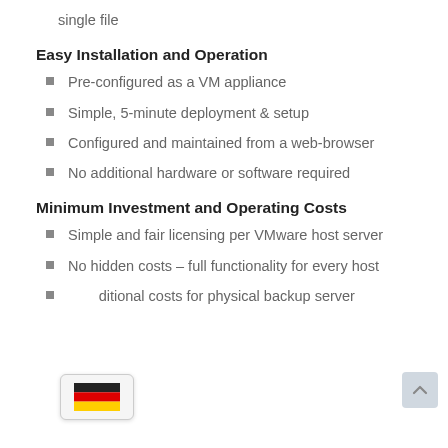single file
Easy Installation and Operation
Pre-configured as a VM appliance
Simple, 5-minute deployment & setup
Configured and maintained from a web-browser
No additional hardware or software required
Minimum Investment and Operating Costs
Simple and fair licensing per VMware host server
No hidden costs – full functionality for every host
No additional costs for physical backup server